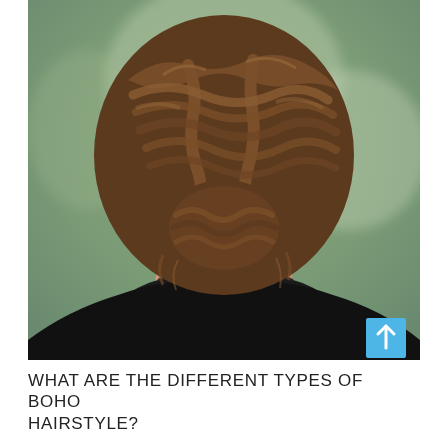[Figure (photo): Back view of a woman with brown braided updo hairstyle, wearing a black top, with a blurred green background. A cyan/blue scroll-to-top arrow button is visible at bottom-right of the image.]
WHAT ARE THE DIFFERENT TYPES OF BOHO HAIRSTYLE?